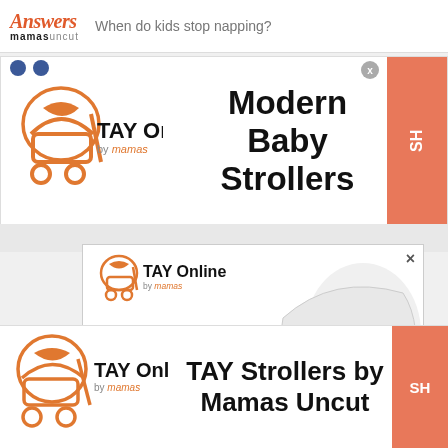Answers mamasuncut — When do kids stop napping?
[Figure (screenshot): TAY Online by mamas stroller logo with orange stroller icon]
[Figure (screenshot): Advertisement banner: Modern Baby Strollers with TAY Online by mamas logo and orange SHOP button]
[Figure (screenshot): Advertisement box: TAY Online by mamas with white modern stroller photo and text TAY Strollers by Mamas]
[Figure (screenshot): Advertisement banner: TAY Strollers by Mamas Uncut with TAY Online logo and orange SHOP button]